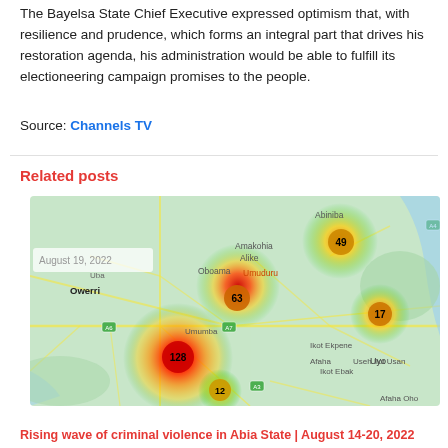The Bayelsa State Chief Executive expressed optimism that, with resilience and prudence, which forms an integral part that drives his restoration agenda, his administration would be able to fulfill its electioneering campaign promises to the people.
Source: Channels TV
Related posts
[Figure (map): Heat map showing criminal violence hotspots in Abia State, Nigeria, with clusters labeled 49, 63, 17, 128, and 12 near locations including Owerri, Umuduru, Umuahia, Ikot Ekpene, and Uyo. Date overlay reads August 19, 2022.]
Rising wave of criminal violence in Abia State | August 14-20, 2022